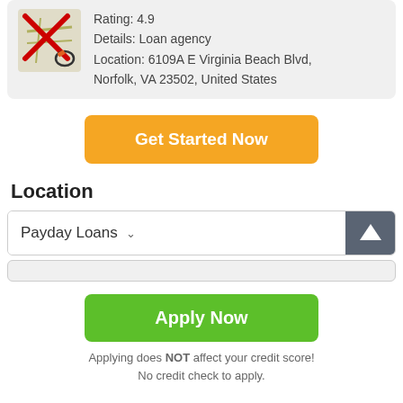[Figure (screenshot): Map icon with red X overlay, inside a grey rounded card]
Rating: 4.9
Details: Loan agency
Location: 6109A E Virginia Beach Blvd, Norfolk, VA 23502, United States
Get Started Now
Location
Payday Loans
Apply Now
Applying does NOT affect your credit score!
No credit check to apply.